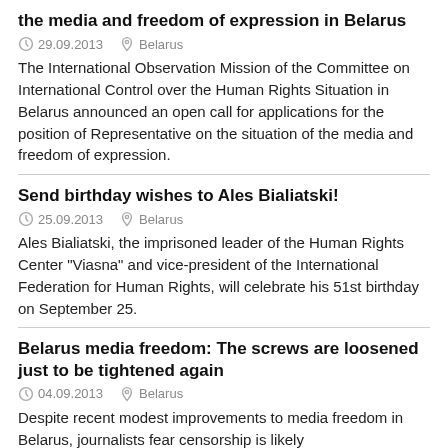the media and freedom of expression in Belarus
29.09.2013   Belarus
The International Observation Mission of the Committee on International Control over the Human Rights Situation in Belarus announced an open call for applications for the position of Representative on the situation of the media and freedom of expression.
Send birthday wishes to Ales Bialiatski!
25.09.2013   Belarus
Ales Bialiatski, the imprisoned leader of the Human Rights Center "Viasna" and vice-president of the International Federation for Human Rights, will celebrate his 51st birthday on September 25.
Belarus media freedom: The screws are loosened just to be tightened again
04.09.2013   Belarus
Despite recent modest improvements to media freedom in Belarus, journalists fear censorship is likely...